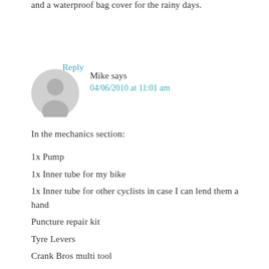and a waterproof bag cover for the rainy days.
Reply
[Figure (illustration): Gray avatar/user icon showing a person silhouette]
Mike says
04/06/2010 at 11:01 am
In the mechanics section:
1x Pump
1x Inner tube for my bike
1x Inner tube for other cyclists in case I can lend them a hand
Puncture repair kit
Tyre Levers
Crank Bros multi tool
Small adjustable spanner